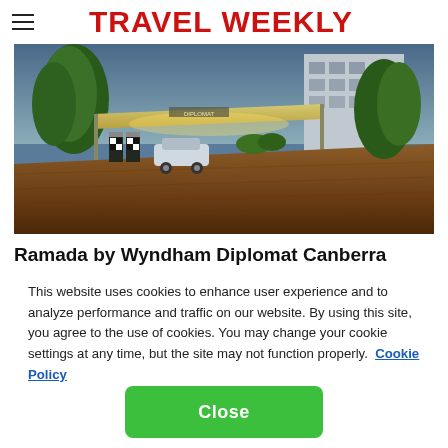TRAVEL WEEKLY
[Figure (photo): Exterior photo of a hotel entrance with a covered driveway, lush green hedges and trees, brick pavement, and a multi-story building in the background at dusk.]
Ramada by Wyndham Diplomat Canberra
This website uses cookies to enhance user experience and to analyze performance and traffic on our website. By using this site, you agree to the use of cookies. You may change your cookie settings at any time, but the site may not function properly.  Cookie Policy
Close